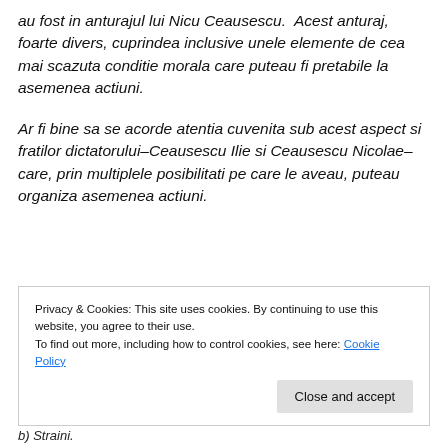au fost in anturajul lui Nicu Ceausescu.  Acest anturaj, foarte divers, cuprindea inclusive unele elemente de cea mai scazuta conditie morala care puteau fi pretabile la asemenea actiuni.
Ar fi bine sa se acorde atentia cuvenita sub acest aspect si fratilor dictatorului–Ceausescu Ilie si Ceausescu Nicolae–care, prin multiplele posibilitati pe care le aveau, puteau organiza asemenea actiuni.
Privacy & Cookies: This site uses cookies. By continuing to use this website, you agree to their use.
To find out more, including how to control cookies, see here: Cookie Policy
Close and accept
b) Straini.